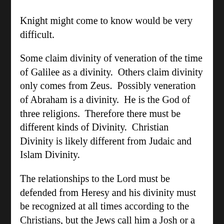Knight might come to know would be very difficult. Some claim divinity of veneration of the time of Galilee as a divinity.  Others claim divinity only comes from Zeus.  Possibly veneration of Abraham is a divinity.  He is the God of three religions.  Therefore there must be different kinds of Divinity.  Christian Divinity is likely different from Judaic and Islam Divinity. The relationships to the Lord must be defended from Heresy and his divinity must be recognized at all times according to the Christians, but the Jews call him a Josh or a Joke, and the Islamic recognize him as a prophet. Since the beginning of the Christian Religion there has been armed conflict with factors